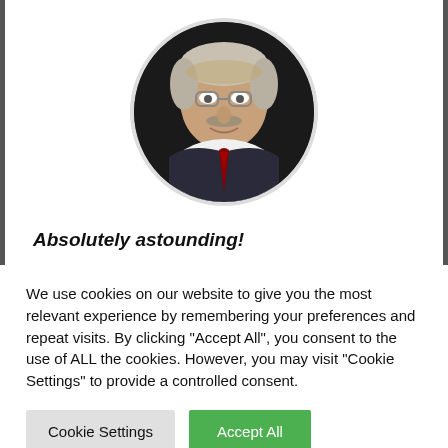[Figure (photo): Circular headshot photo of an older man with gray hair, glasses, and a mustache wearing a dark suit with a red tie, against a dark background.]
Absolutely astounding!
We use cookies on our website to give you the most relevant experience by remembering your preferences and repeat visits. By clicking "Accept All", you consent to the use of ALL the cookies. However, you may visit "Cookie Settings" to provide a controlled consent.